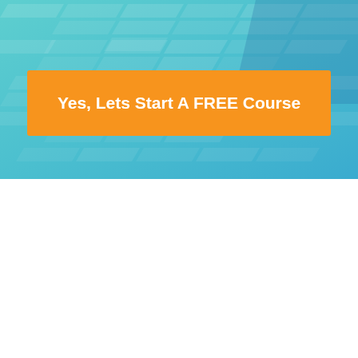[Figure (infographic): Teal/cyan gradient background with geometric hexagonal/chevron pattern shapes in lighter teal tones, containing an orange call-to-action button with white bold text reading 'Yes, Lets Start A FREE Course']
Yes, Lets Start A FREE Course